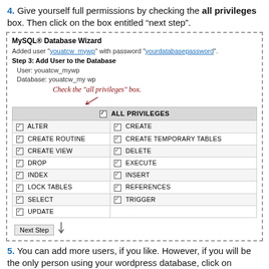4. Give yourself full permissions by checking the all privileges box. Then click on the box entitled “next step”.
[Figure (screenshot): Screenshot of MySQL Database Wizard showing Step 3: Add User to the Database with all privileges checkboxes checked and a handwritten annotation saying 'Check the "all privileges" box' with an arrow pointing to the ALL PRIVILEGES checkbox. A Next Step button is shown at the bottom.]
5. You can add more users, if you like. However, if you will be the only person using your wordpress database, click on “Return Home”.